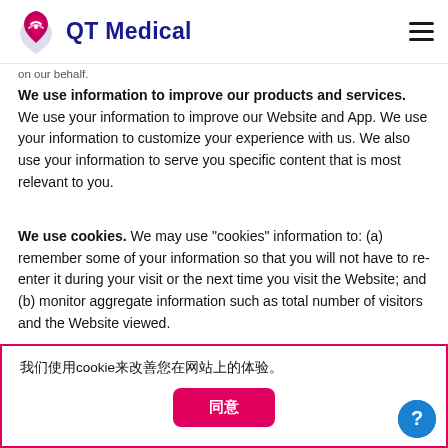QT Medical
on our behalf.
We use information to improve our products and services. We use your information to improve our Website and App. We use your information to customize your experience with us. We also use your information to serve you specific content that is most relevant to you.
We use cookies. We may use "cookies" information to: (a) remember some of your information so that you will not have to re-enter it during your visit or the next time you visit the Website; and (b) monitor aggregate information such as total number of visitors and the Website viewed.
我们使用cookie来改善您在网站上的体验。
同意